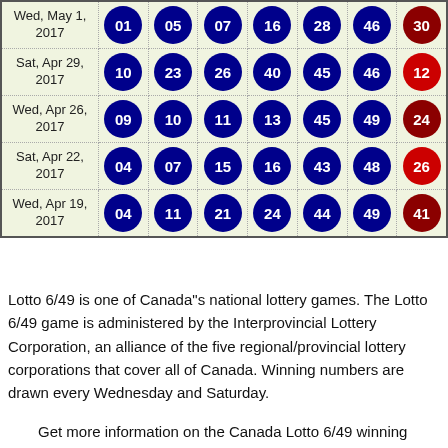| Date | N1 | N2 | N3 | N4 | N5 | N6 | Bonus |
| --- | --- | --- | --- | --- | --- | --- | --- |
| Wed, May 1, 2017 | 01 | 05 | 07 | 16 | 28 | 46 | 30 |
| Sat, Apr 29, 2017 | 10 | 23 | 26 | 40 | 45 | 46 | 12 |
| Wed, Apr 26, 2017 | 09 | 10 | 11 | 13 | 45 | 49 | 24 |
| Sat, Apr 22, 2017 | 04 | 07 | 15 | 16 | 43 | 48 | 26 |
| Wed, Apr 19, 2017 | 04 | 11 | 21 | 24 | 44 | 49 | 41 |
Lotto 6/49 is one of Canada"s national lottery games. The Lotto 6/49 game is administered by the Interprovincial Lottery Corporation, an alliance of the five regional/provincial lottery corporations that cover all of Canada. Winning numbers are drawn every Wednesday and Saturday.
Get more information on the Canada Lotto 6/49 winning numbers, number frequencies, historical numbers, hot &